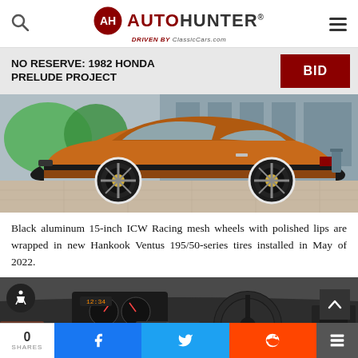AUTOHUNTER® DRIVEN BY ClassicCars.com
NO RESERVE: 1982 HONDA PRELUDE PROJECT
[Figure (photo): Side profile photo of a 1982 Honda Prelude in orange/copper color with black 15-inch ICW Racing mesh wheels on a paved surface]
Black aluminum 15-inch ICW Racing mesh wheels with polished lips are wrapped in new Hankook Ventus 195/50-series tires installed in May of 2022.
[Figure (photo): Interior dashboard photo of the 1982 Honda Prelude showing steering wheel, instrument cluster, and center console]